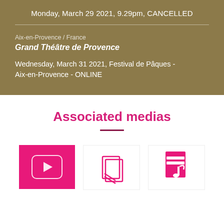Monday, March 29 2021, 9.29pm, CANCELLED
Aix-en-Provence / France
Grand Théâtre de Provence
Wednesday, March 31 2021, Festival de Pâques - Aix-en-Provence - ONLINE
Associated medias
[Figure (other): Pink media card with play button icon (video)]
[Figure (other): White media card with pink document/score icon]
[Figure (other): White media card with pink music note/document icon]